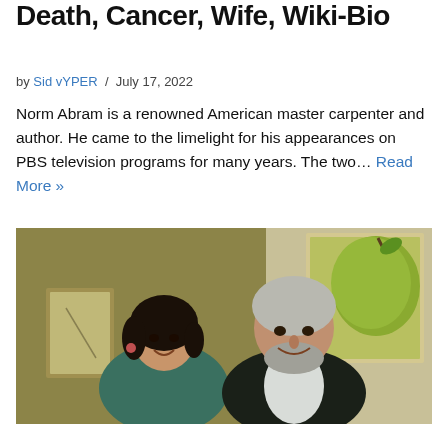Death, Cancer, Wife, Wiki-Bio
by Sid vYPER / July 17, 2022
Norm Abram is a renowned American master carpenter and author. He came to the limelight for his appearances on PBS television programs for many years. The two… Read More »
[Figure (photo): A man and a woman posing together indoors. The woman has dark hair and is wearing a teal/patterned outfit with earrings. The man has white/gray hair and a beard, wearing a dark blazer over a striped shirt. Behind them is a painting of a large green fruit/pear.]